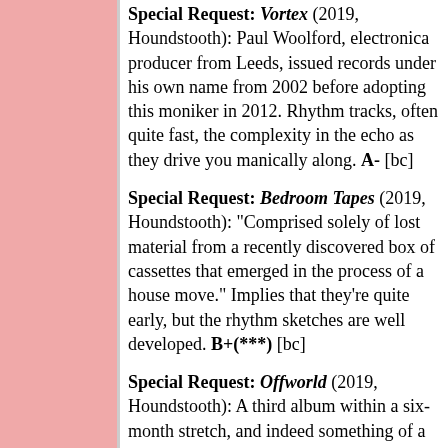Special Request: Vortex (2019, Houndstooth): Paul Woolford, electronica producer from Leeds, issued records under his own name from 2002 before adopting this moniker in 2012. Rhythm tracks, often quite fast, the complexity in the echo as they drive you manically along. A- [bc]
Special Request: Bedroom Tapes (2019, Houndstooth): "Comprised solely of lost material from a recently discovered box of cassettes that emerged in the process of a house move." Implies that they're quite early, but the rhythm sketches are well developed. B+(***) [bc]
Special Request: Offworld (2019, Houndstooth): A third album within a six-month stretch, and indeed something of a stretch, but the vocal added to "237,000 Miles" добавляет...